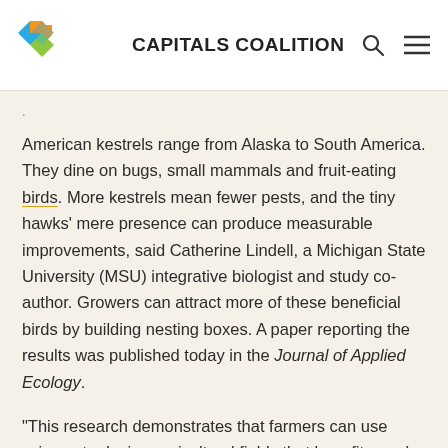CAPITALS COALITION
American kestrels range from Alaska to South America. They dine on bugs, small mammals and fruit-eating birds. More kestrels mean fewer pests, and the tiny hawks’ mere presence can produce measurable improvements, said Catherine Lindell, a Michigan State University (MSU) integrative biologist and study co-author. Growers can attract more of these beneficial birds by building nesting boxes. A paper reporting the results was published today in the Journal of Applied Ecology.
“This research demonstrates that farmers can use science to design agricultural fields that benefit people and wildlife,” said Betsy Von Holle, a program director for the National Science Foundation’s (NSF) Dynamics of